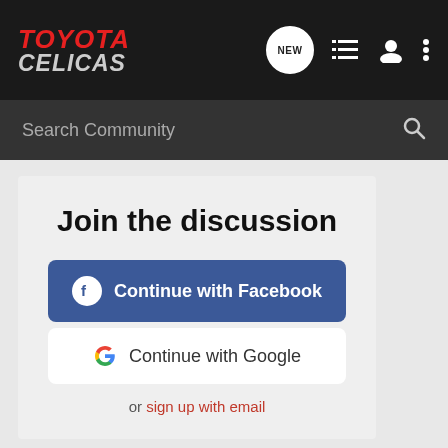TOYOTA CELICAS
Search Community
Join the discussion
Continue with Facebook
Continue with Google
or sign up with email
More in Showcase
#178 still chasin the sunrise rain or shine